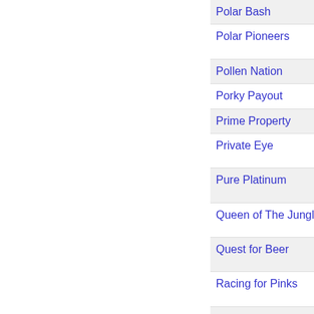| Game Name | Description |
| --- | --- |
| Polar Bash | Free spins |
| Polar Pioneers | 5 Reel, 25 Payline Slot Game. |
| Pollen Nation | 5 Reel, 25 Payline Video |
| Porky Payout | 5 Reel, 20 Payline Vide |
| Prime Property | 5 Reel, 40Payline Vide |
| Private Eye | 5 Reel, 243 ways to wi Bonus Game |
| Pure Platinum | 5 Reel, 40 Payline Vide feature Game |
| Queen of The Jungle | 5 Reel, 9 Paylines Vide Bonus Game |
| Quest for Beer | 5 Reel, 25 Payline Vide Free Spins. |
| Racing for Pinks | 5 Reel, 243 Ways to w Bonus Feature |
| Ramesses Riches | 5 Reel, 20 Payline Vide Free Spins. |
| Rainbows End | 5 reel, 25 pay-line vide |
| Rapid Reels | 3 Reel, 5 Payline Slot. |
| Razzmatazz | 3 Reel Slot. |
| Reel Baron | 5 Reel 20 Paylines Vide |
| Reel Gems | 5 Reel, 243 Ways to w Re-spin Feature |
| Reel Strike | 5 Reel 15 Payline Vide |
| Reel Thunder | 5 Reel, 9 Payline Vide |
| Reels Royce | 3 Reel, 3 Payline Slot. |